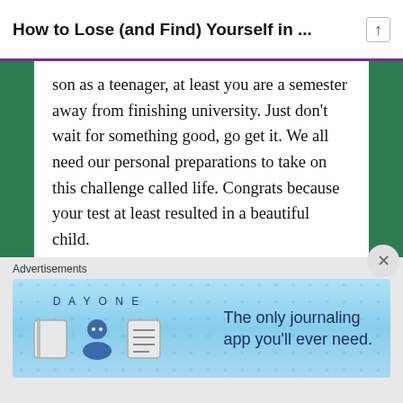How to Lose (and Find) Yourself in ...
son as a teenager, at least you are a semester away from finishing university. Just don't wait for something good, go get it. We all need our personal preparations to take on this challenge called life. Congrats because your test at least resulted in a beautiful child. #GrammaZoneOneLife
Like
Advertisements
[Figure (screenshot): Day One journaling app advertisement banner with text 'The only journaling app you'll ever need.']